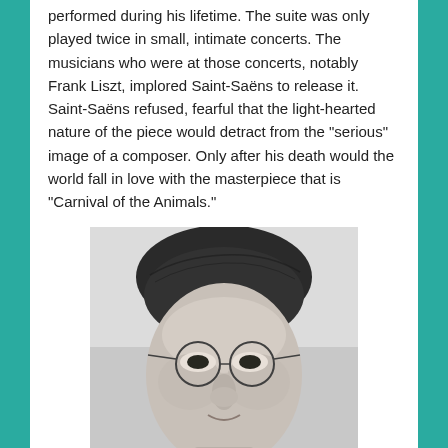performed during his lifetime. The suite was only played twice in small, intimate concerts. The musicians who were at those concerts, notably Frank Liszt, implored Saint-Saëns to release it. Saint-Saëns refused, fearful that the light-hearted nature of the piece would detract from the "serious" image of a composer. Only after his death would the world fall in love with the masterpiece that is "Carnival of the Animals."
[Figure (photo): Black and white portrait photograph of a man wearing round wire-rimmed glasses, with dark slicked hair, looking slightly downward toward the camera.]